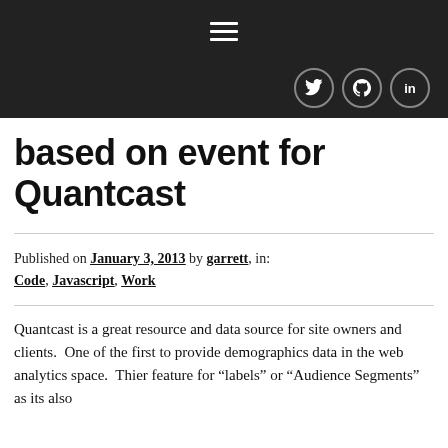Navigation menu and social icons (Twitter, GitHub, LinkedIn)
based on event for Quantcast
Published on January 3, 2013 by garrett, in: Code, Javascript, Work
Quantcast is a great resource and data source for site owners and clients.  One of the first to provide demographics data in the web analytics space.  Thier feature for "labels" or "Audience Segments" as its also